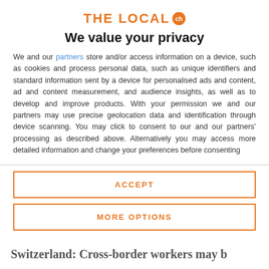[Figure (logo): The Local ch logo in orange with 'ch' in a circle]
We value your privacy
We and our partners store and/or access information on a device, such as cookies and process personal data, such as unique identifiers and standard information sent by a device for personalised ads and content, ad and content measurement, and audience insights, as well as to develop and improve products. With your permission we and our partners may use precise geolocation data and identification through device scanning. You may click to consent to our and our partners' processing as described above. Alternatively you may access more detailed information and change your preferences before consenting
ACCEPT
MORE OPTIONS
Switzerland: Cross-border workers may b